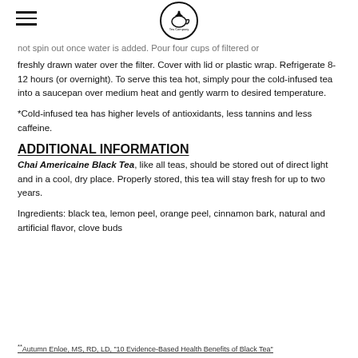[logo: Hudson Tea Company]
not spin out once water is added. Pour four cups of filtered or freshly drawn water over the filter. Cover with lid or plastic wrap. Refrigerate 8-12 hours (or overnight). To serve this tea hot, simply pour the cold-infused tea into a saucepan over medium heat and gently warm to desired temperature.
*Cold-infused tea has higher levels of antioxidants, less tannins and less caffeine.
ADDITIONAL INFORMATION
Chai Americaine Black Tea, like all teas, should be stored out of direct light and in a cool, dry place. Properly stored, this tea will stay fresh for up to two years.
Ingredients: black tea, lemon peel, orange peel, cinnamon bark, natural and artificial flavor, clove buds
**Autumn Enloe, MS, RD, LD, "10 Evidence-Based Health Benefits of Black Tea"